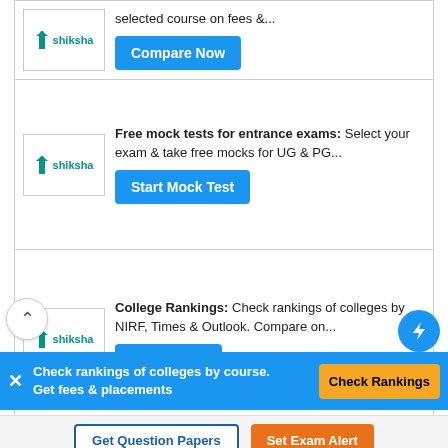[Figure (screenshot): Shiksha logo in a white bordered box]
selected course on fees &...
Compare Now
[Figure (screenshot): Shiksha logo in a white bordered box]
Free mock tests for entrance exams: Select your exam & take free mocks for UG & PG...
Start Mock Test
[Figure (screenshot): Shiksha logo in a white bordered box]
College Rankings: Check rankings of colleges by NIRF, Times & Outlook. Compare on...
Check Now
Check rankings of colleges by course. Get fees & placements
Check Rankings
Get Question Papers
Set Exam Alert